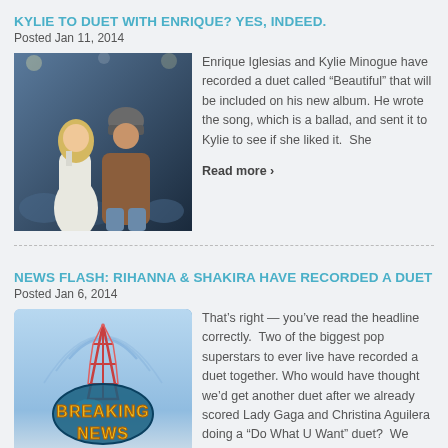KYLIE TO DUET WITH ENRIQUE? YES, INDEED.
Posted Jan 11, 2014
[Figure (photo): Photo of a woman in white dress and a man in brown leather jacket standing at a podium]
Enrique Iglesias and Kylie Minogue have recorded a duet called "Beautiful" that will be included on his new album. He wrote the song, which is a ballad, and sent it to Kylie to see if she liked it.  She
Read more ›
NEWS FLASH: RIHANNA & SHAKIRA HAVE RECORDED A DUET
Posted Jan 6, 2014
[Figure (photo): Breaking News logo with radio tower illustration]
That's right — you've read the headline correctly.  Two of the biggest pop superstars to ever live have recorded a duet together. Who would have thought we'd get another duet after we already scored Lady Gaga and Christina Aguilera doing a "Do What U Want" duet?  We sure didn't.  But, boy...
Read more ›